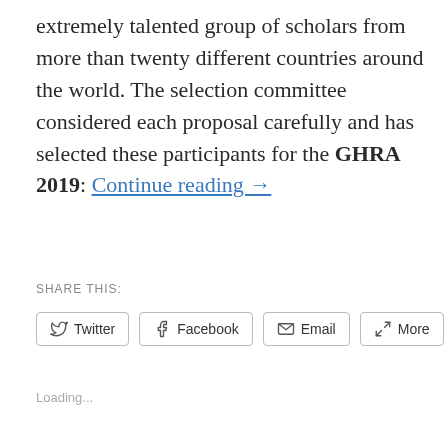extremely talented group of scholars from more than twenty different countries around the world. The selection committee considered each proposal carefully and has selected these participants for the GHRA 2019: Continue reading →
SHARE THIS:
Twitter  Facebook  Email  More
Loading...